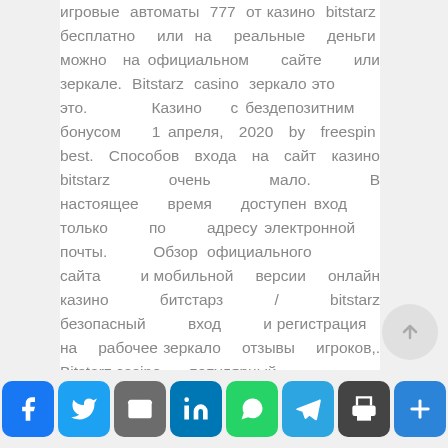игровые автоматы 777 от казино bitstarz бесплатно или на реальные деньги можно на официальном сайте или зеркале. Bitstarz casino зеркало это это. Казино с бездепозитним бонусом 1 апреля, 2020 by freespin best. Способов входа на сайт казино bitstarz очень мало. В настоящее время доступен вход только по адресу электронной почты. Обзор официального сайта и мобильной версии онлайн казино битстарз / bitstarz безопасный вход и регистрация на рабочее зеркало отзывы игроков,. Bitstarz casino — популярный ... условиями. В клубе битстарз регистрация — занимает
[Figure (other): Social share bar with icons: Facebook, Twitter, Email, LinkedIn, WhatsApp, Telegram, Print, More]